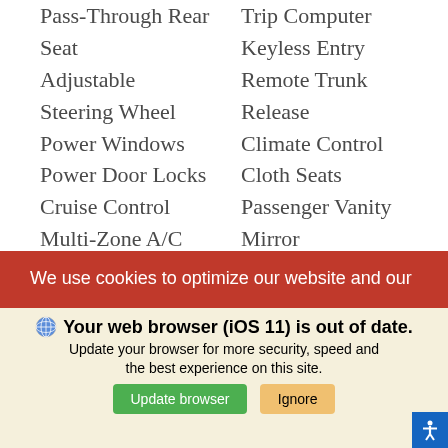Pass-Through Rear Seat
Adjustable Steering Wheel
Power Windows
Power Door Locks
Cruise Control
Multi-Zone A/C
Driver Vanity Mirror
Power Windows
Trip Computer
Traction Control
Traction Control
Front Collision Mitigation
Blind Spot Monitor
Lane Departure Warning
Trip Computer
Keyless Entry
Remote Trunk Release
Climate Control
Cloth Seats
Passenger Vanity Mirror
Power Door Locks
Security System
Stability Control
Front Side Air Bag
Driver Monitoring
Cross-Traffic Alert
Lane Keeping Assist
Tire Pressure Monitor
SELL US YOUR CAR
We use cookies to optimize our website and our
Your web browser (iOS 11) is out of date.
Update your browser for more security, speed and the best experience on this site.
Update browser
Ignore